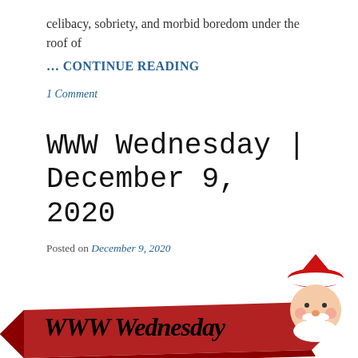celibacy, sobriety, and morbid boredom under the roof of
… CONTINUE READING
1 Comment
WWW Wednesday | December 9, 2020
Posted on December 9, 2020
[Figure (illustration): WWW Wednesday banner with cursive text 'WWW Wednesday' on a red ribbon banner with a cartoon Santa Claus figure on the right side]